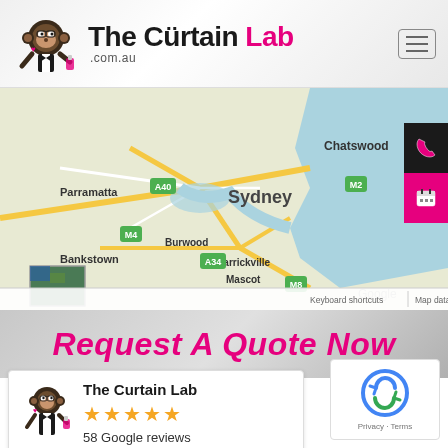[Figure (logo): The Curtain Lab logo with a monkey mascot in a tuxedo holding a flask, beside brand name 'The Curtain Lab .com.au']
[Figure (map): Google Maps screenshot showing Sydney, Australia area including Parramatta, Chatswood, Burwood, Bankstown, Marrickville, Mascot. Shows motorways A40, M2, M4, A34, M8. Blue harbor/ocean on the right side.]
Request A Quote Now
[Figure (other): The Curtain Lab Google review card showing 5 stars and 58 Google reviews with monkey mascot logo]
[Figure (other): Google reCAPTCHA badge with Privacy and Terms links]